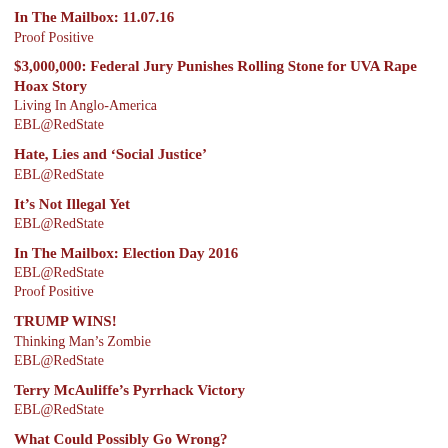In The Mailbox: 11.07.16
Proof Positive
$3,000,000: Federal Jury Punishes Rolling Stone for UVA Rape Hoax Story
Living In Anglo-America
EBL@RedState
Hate, Lies and ‘Social Justice’
EBL@RedState
It’s Not Illegal Yet
EBL@RedState
In The Mailbox: Election Day 2016
EBL@RedState
Proof Positive
TRUMP WINS!
Thinking Man’s Zombie
EBL@RedState
Terry McAuliffe’s Pyrrhack Victory
EBL@RedState
What Could Possibly Go Wrong?
EBL@RedState
In The Mailbox: 11.09.16